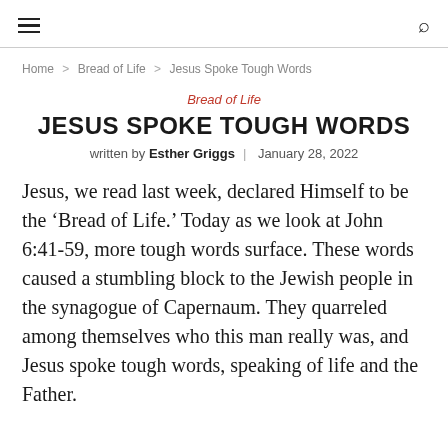≡  🔍
Home > Bread of Life > Jesus Spoke Tough Words
Bread of Life
JESUS SPOKE TOUGH WORDS
written by Esther Griggs | January 28, 2022
Jesus, we read last week, declared Himself to be the 'Bread of Life.' Today as we look at John 6:41-59, more tough words surface. These words caused a stumbling block to the Jewish people in the synagogue of Capernaum. They quarreled among themselves who this man really was, and Jesus spoke tough words, speaking of life and the Father.